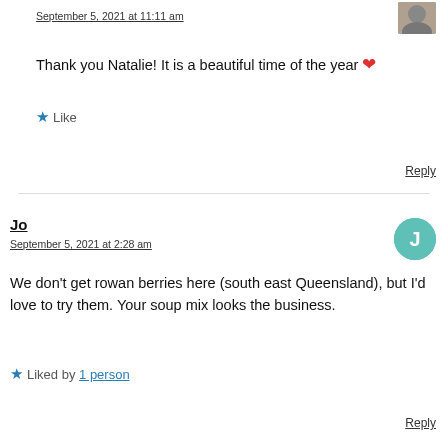September 5, 2021 at 11:11 am
Thank you Natalie! It is a beautiful time of the year ❤
★ Like
Reply
Jo
September 5, 2021 at 2:28 am
We don't get rowan berries here (south east Queensland), but I'd love to try them. Your soup mix looks the business.
★ Liked by 1 person
Reply